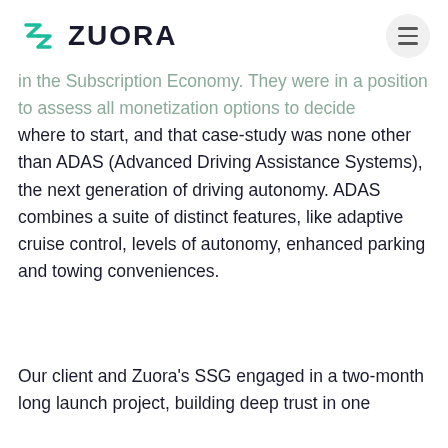ZUORA
in the Subscription Economy. They were in a position to assess all monetization options to decide where to start, and that case-study was none other than ADAS (Advanced Driving Assistance Systems), the next generation of driving autonomy. ADAS combines a suite of distinct features, like adaptive cruise control, levels of autonomy, enhanced parking and towing conveniences.
Our client and Zuora's SSG engaged in a two-month long launch project, building deep trust in one